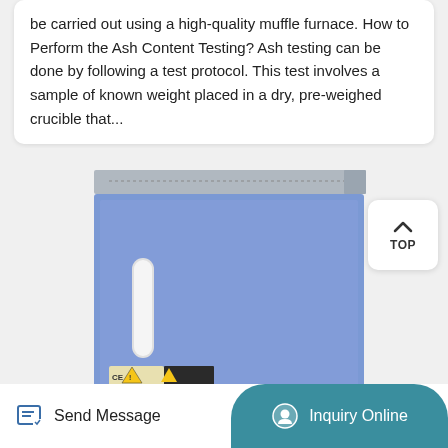be carried out using a high-quality muffle furnace. How to Perform the Ash Content Testing? Ash testing can be done by following a test protocol. This test involves a sample of known weight placed in a dry, pre-weighed crucible that...
[Figure (photo): A blue muffle furnace laboratory equipment, box-shaped with a front door handle and warning labels near the bottom left corner]
TOP
Send Message
Inquiry Online